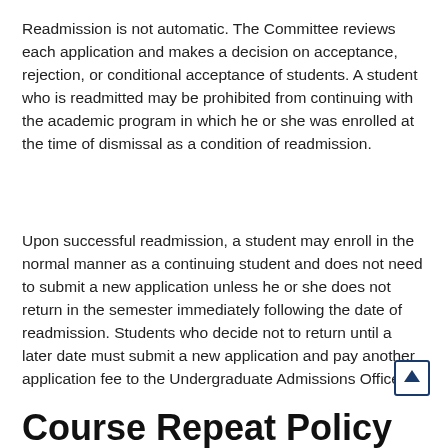Readmission is not automatic. The Committee reviews each application and makes a decision on acceptance, rejection, or conditional acceptance of students. A student who is readmitted may be prohibited from continuing with the academic program in which he or she was enrolled at the time of dismissal as a condition of readmission.
Upon successful readmission, a student may enroll in the normal manner as a continuing student and does not need to submit a new application unless he or she does not return in the semester immediately following the date of readmission. Students who decide not to return until a later date must submit a new application and pay another application fee to the Undergraduate Admissions Office.
Course Repeat Policy